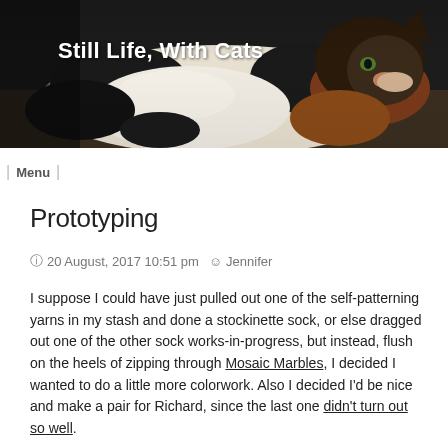[Figure (photo): Header photo of a calico cat lying on its back, white and black and orange fur, with text 'Still Life, With Cats' overlaid in white bold font on a dark background.]
Still Life, With Cats
Menu
Prototyping
20 August, 2017 10:51 pm  Jennifer
I suppose I could have just pulled out one of the self-patterning yarns in my stash and done a stockinette sock, or else dragged out one of the other sock works-in-progress, but instead, flush on the heels of zipping through Mosaic Marbles, I decided I wanted to do a little more colorwork. Also I decided I'd be nice and make a pair for Richard, since the last one didn't turn out so well.
So over the weekend (when I wasn't processing a gazillion tomatoes into sauce, because it's that time of year here in the Central Valley) I started and ripped out the first of a pair of socks, too many times to